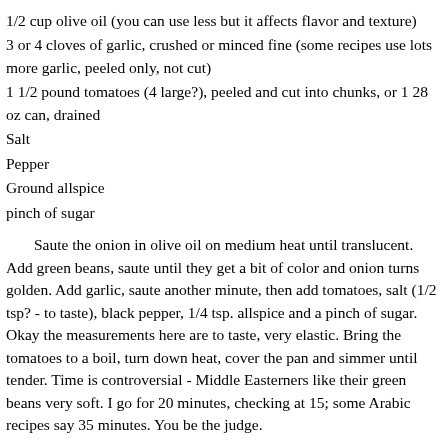1/2 cup olive oil (you can use less but it affects flavor and texture)
3 or 4 cloves of garlic, crushed or minced fine (some recipes use lots more garlic, peeled only, not cut)
1 1/2 pound tomatoes (4 large?), peeled and cut into chunks, or 1 28 oz can, drained
Salt
Pepper
Ground allspice
pinch of sugar
Saute the onion in olive oil on medium heat until translucent. Add green beans, saute until they get a bit of color and onion turns golden. Add garlic, saute another minute, then add tomatoes, salt (1/2 tsp? - to taste), black pepper, 1/4 tsp. allspice and a pinch of sugar. Okay the measurements here are to taste, very elastic. Bring the tomatoes to a boil, turn down heat, cover the pan and simmer until tender. Time is controversial - Middle Easterners like their green beans very soft. I go for 20 minutes, checking at 15; some Arabic recipes say 35 minutes. You be the judge.
The classic dish wants the green beans to absorb the tomato completely, whereas my version allows the tomatoes and green beans to still retain their shapes and identity. I don't claim my recipe is definitive. It may suit a Blue State palate more than the classic version. Here are some others I found: